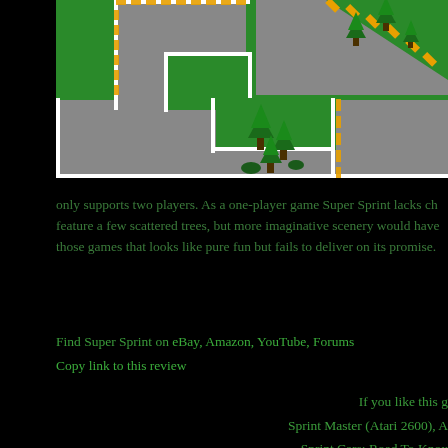[Figure (screenshot): A top-down view of a Super Sprint racing game track with green grass areas, grey road, white track borders with orange/yellow dashed markings, and scattered pixel-art trees.]
only supports two players. As a one-player game Super Sprint lacks ch feature a few scattered trees, but more imaginative scenery would have those games that looks like pure fun but fails to deliver on its promise.
Find Super Sprint on eBay, Amazon, YouTube, Forums
Copy link to this review
If you like this g Sprint Master (Atari 2600), A Sprint Cars: Road To Knox